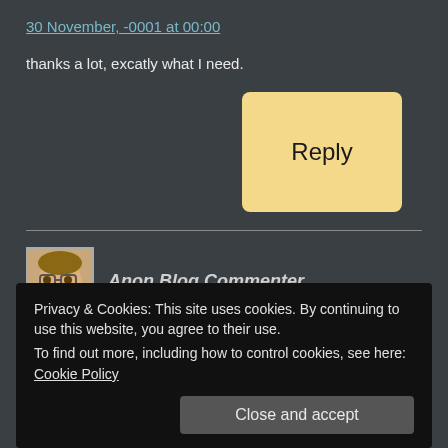30 November, -0001 at 00:00
thanks a lot, excatly what I need.
[Figure (other): Reply button - yellow/cream colored rectangular button with text 'Reply']
[Figure (illustration): Avatar image of Anon Blog Commenter - cartoon face with glasses]
Anon Blog Commenter
Privacy & Cookies: This site uses cookies. By continuing to use this website, you agree to their use.
To find out more, including how to control cookies, see here: Cookie Policy
Close and accept